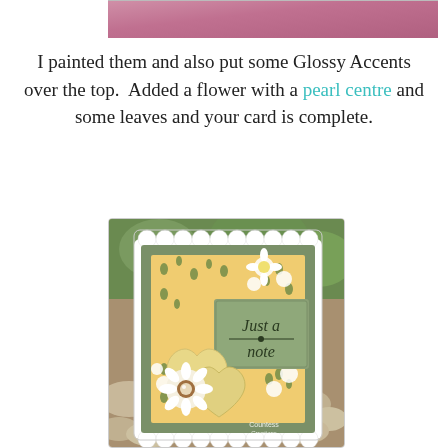[Figure (photo): Top portion of a cropped photo showing pink/purple tones, partially visible at top of page]
I painted them and also put some Glossy Accents over the top.  Added a flower with a pearl centre and some leaves and your card is complete.
[Figure (photo): A handmade greeting card saying 'Just a note' with green and yellow floral patterned background, white scalloped border, two cream hearts, a white daisy flower with pearl center, displayed on a rocky surface outdoors. Watermark reads 'Countess Creations DESIGN TE...']